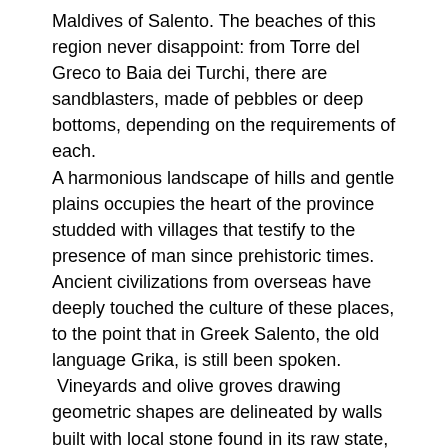Maldives of Salento. The beaches of this region never disappoint: from Torre del Greco to Baia dei Turchi, there are sandblasters, made of pebbles or deep bottoms, depending on the requirements of each.
A harmonious landscape of hills and gentle plains occupies the heart of the province studded with villages that testify to the presence of man since prehistoric times. Ancient civilizations from overseas have deeply touched the culture of these places, to the point that in Greek Salento, the old language Grika, is still been spoken.
Vineyards and olive groves drawing geometric shapes are delineated by walls built with local stone found in its raw state, on farms, dolmens and menhirs, symbols of the ancient Messapic civilization.
A real history book in the open air, where the chapter of the Middle Ages is told by the old towns and imposing castles and that of the Renaissance by the aristocratic houses that recall the elegance and grandeur of the capital.
The food and wine offered here is just as full as that offered by Mother Nature: oils, wines, cheeses, vegetables and fresh pasta are reminiscent of the flavors of the past, thanks to the artisanal method of working with raw materials.
Motto Of Salento